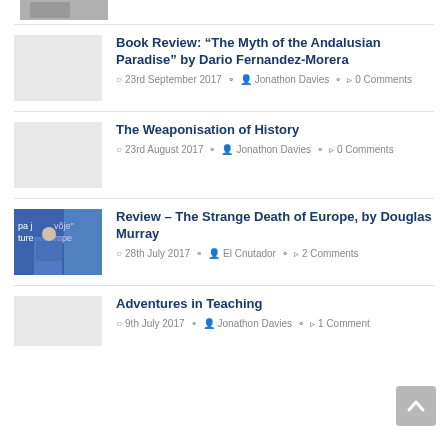[Figure (photo): Partial image at top left, appears to be a person or face, cropped]
Book Review: “The Myth of the Andalusian Paradise” by Dario Fernandez-Morera
23rd September 2017  Jonathon Davies  0 Comments
The Weaponisation of History
23rd August 2017  Jonathon Davies  0 Comments
[Figure (photo): Photo of a man speaking at a podium with blue EU-related banner in background]
Review – The Strange Death of Europe, by Douglas Murray
28th July 2017  El Cnutador  2 Comments
Adventures in Teaching
9th July 2017  Jonathon Davies  1 Comment